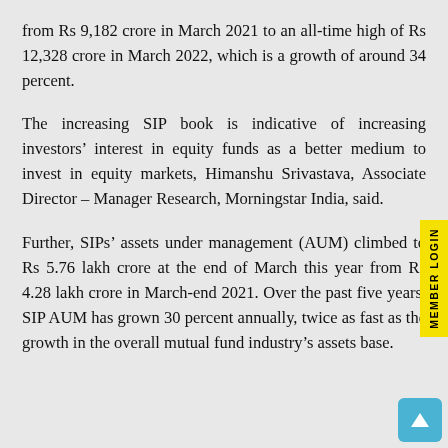from Rs 9,182 crore in March 2021 to an all-time high of Rs 12,328 crore in March 2022, which is a growth of around 34 percent.
The increasing SIP book is indicative of increasing investors' interest in equity funds as a better medium to invest in equity markets, Himanshu Srivastava, Associate Director – Manager Research, Morningstar India, said.
Further, SIPs' assets under management (AUM) climbed to Rs 5.76 lakh crore at the end of March this year from Rs 4.28 lakh crore in March-end 2021. Over the past five years, SIP AUM has grown 30 percent annually, twice as fast as the growth in the overall mutual fund industry's assets base.